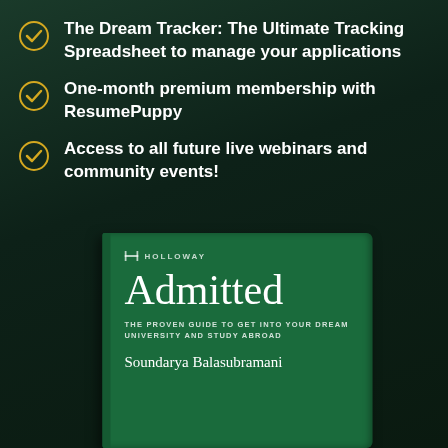The Dream Tracker: The Ultimate Tracking Spreadsheet to manage your applications
One-month premium membership with ResumePuppy
Access to all future live webinars and community events!
[Figure (illustration): Book cover for 'Admitted: The Proven Guide to Get Into Your Dream University and Study Abroad' by Soundarya Balasubramani, published by Holloway. Green cover with serif title text.]